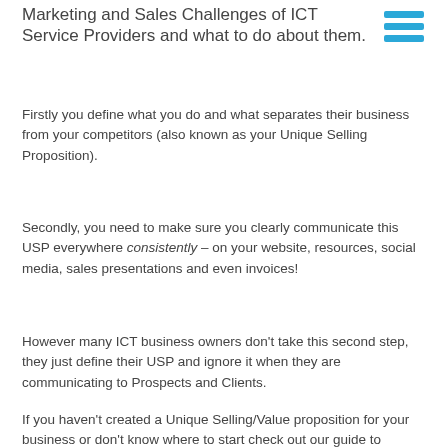Marketing and Sales Challenges of ICT Service Providers and what to do about them.
Firstly you define what you do and what separates their business from your competitors (also known as your Unique Selling Proposition).
Secondly, you need to make sure you clearly communicate this USP everywhere consistently – on your website, resources, social media, sales presentations and even invoices!
However many ICT business owners don't take this second step, they just define their USP and ignore it when they are communicating to Prospects and Clients.
If you haven't created a Unique Selling/Value proposition for your business or don't know where to start check out our guide to creating your own unique value proposition here.